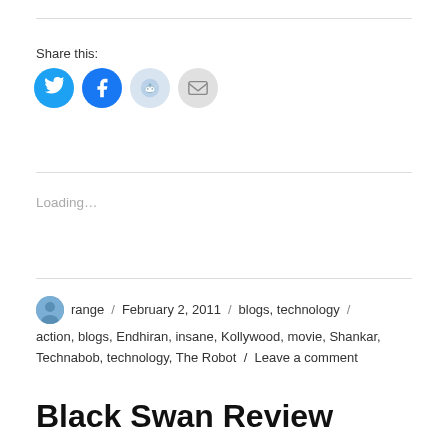Share this:
[Figure (infographic): Social share buttons: Twitter (blue circle), Facebook (blue circle), Reddit (light blue circle), Email (grey circle)]
Loading...
range / February 2, 2011 / blogs, technology / action, blogs, Endhiran, insane, Kollywood, movie, Shankar, Technabob, technology, The Robot / Leave a comment
Black Swan Review